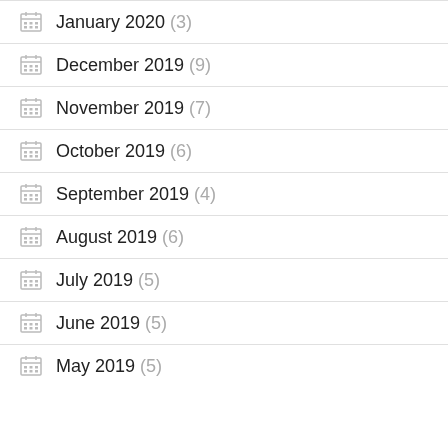January 2020 (3)
December 2019 (9)
November 2019 (7)
October 2019 (6)
September 2019 (4)
August 2019 (6)
July 2019 (5)
June 2019 (5)
May 2019 (5)